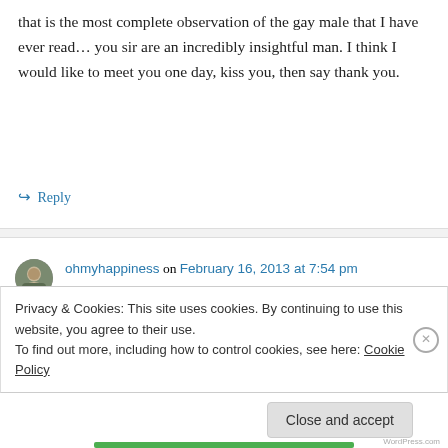that is the most complete observation of the gay male that I have ever read… you sir are an incredibly insightful man. I think I would like to meet you one day, kiss you, then say thank you.
↪ Reply
ohmyhappiness on February 16, 2013 at 7:54 pm
😶 Now I'm blushing. Thanks Steve. Let me
Privacy & Cookies: This site uses cookies. By continuing to use this website, you agree to their use.
To find out more, including how to control cookies, see here: Cookie Policy
Close and accept